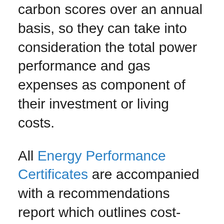carbon scores over an annual basis, so they can take into consideration the total power performance and gas expenses as component of their investment or living costs.
All Energy Performance Certificates are accompanied with a recommendations report which outlines cost-effective measures that can be put in place to improve the overall energy efficiency rating of a given property. A typical recommendation could be to upgrade a building's heating system, increase insulation levels in a loft space or to upgrade single glazed areas to double glazing.
The Energy Efficiency Certification is